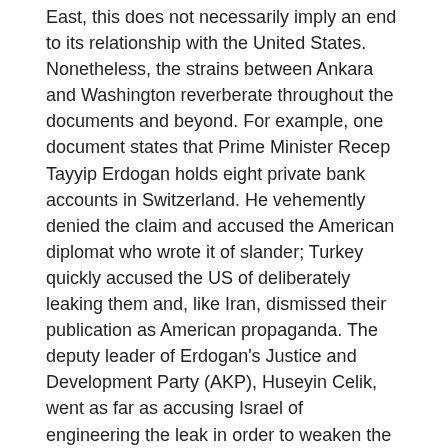East, this does not necessarily imply an end to its relationship with the United States. Nonetheless, the strains between Ankara and Washington reverberate throughout the documents and beyond. For example, one document states that Prime Minister Recep Tayyip Erdogan holds eight private bank accounts in Switzerland. He vehemently denied the claim and accused the American diplomat who wrote it of slander; Turkey quickly accused the US of deliberately leaking them and, like Iran, dismissed their publication as American propaganda. The deputy leader of Erdogan's Justice and Development Party (AKP), Huseyin Celik, went as far as accusing Israel of engineering the leak in order to weaken the Turkish government. Still, Erdogan's political enemies are making the most of the revelations.
While Israel has possessed a nuclear capability for over 40 years, WikiLeaks documents show that it is Iran's nuclear ambitions that currently worry Arab states: for them, the prospect of two Middle Eastern nuclear powers in confrontation with one another is positively frightening.
For Israel, the documents – which refer to Mossad chief Meir Dagan's encouraging the US to organise a coup in Iran – are